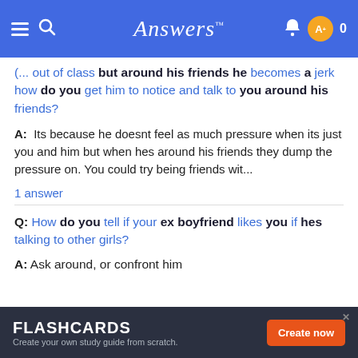Answers
out of class but around his friends he becomes a jerk how do you get him to notice and talk to you around his friends?
A: Its because he doesnt feel as much pressure when its just you and him but when hes around his friends they dump the pressure on. You could try being friends wit...
1 answer
Q: How do you tell if your ex boyfriend likes you if hes talking to other girls?
A: Ask around, or confront him
FLASHCARDS Create your own study guide from scratch. Create now